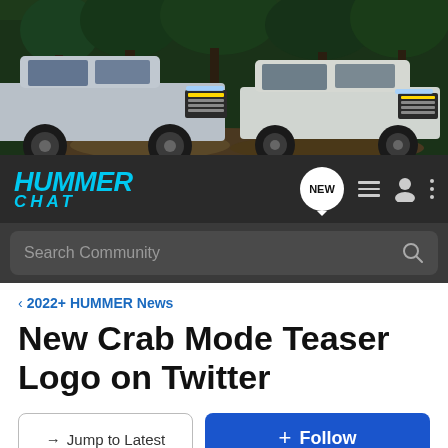[Figure (photo): Two GMC HUMMER EV vehicles (a pickup truck on the left and an SUV on the right) driving on rocky terrain in a forest setting. Dark green and brown forest background.]
[Figure (logo): HUMMER CHAT logo in bold italic cyan/blue text on dark background navigation bar, with NEW chat badge, list icon, user icon, and vertical dots menu icon]
Search Community
< 2022+ HUMMER News
New Crab Mode Teaser Logo on Twitter
→ Jump to Latest
+ Follow
Hummer EV Order Tracker: Add Yours Here!